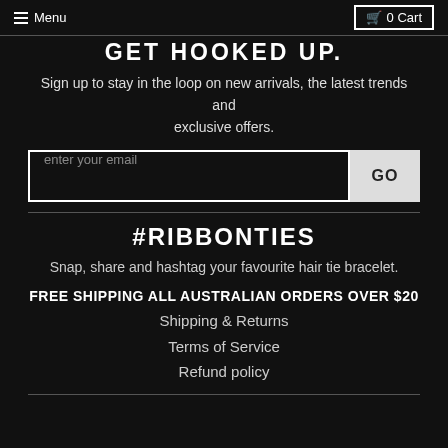Menu | 0 Cart
GET HOOKED UP.
Sign up to stay in the loop on new arrivals, the latest trends and exclusive offers.
enter your email | GO
#RIBBONTIES
Snap, share and hashtag your favourite hair tie bracelet.
FREE SHIPPING ALL AUSTRALIAN ORDERS OVER $20
Shipping & Returns
Terms of Service
Refund policy